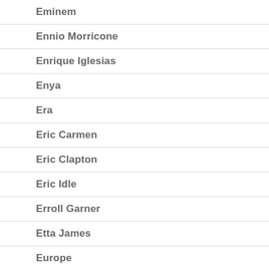Eminem
Ennio Morricone
Enrique Iglesias
Enya
Era
Eric Carmen
Eric Clapton
Eric Idle
Erroll Garner
Etta James
Europe